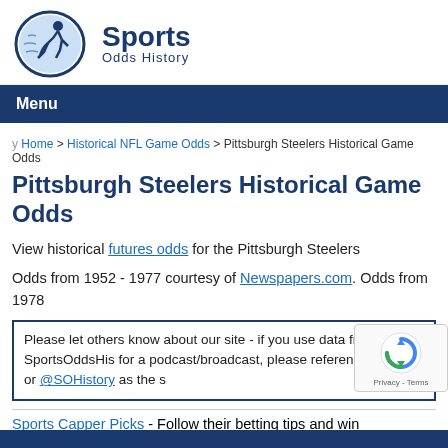[Figure (logo): Sports Odds History logo with circular icon of a runner and text 'Sports Odds History']
Menu
Home > Historical NFL Game Odds > Pittsburgh Steelers Historical Game Odds
Pittsburgh Steelers Historical Game Odds
View historical futures odds for the Pittsburgh Steelers
Odds from 1952 - 1977 courtesy of Newspapers.com. Odds from 1978
Please let others know about our site - if you use data from SportsOddsHis for a podcast/broadcast, please reference this site or @SOHistory as the s
Sports Capper Picks - Follow their betting tips and win
Click on a season (or scroll down) to view all games for the